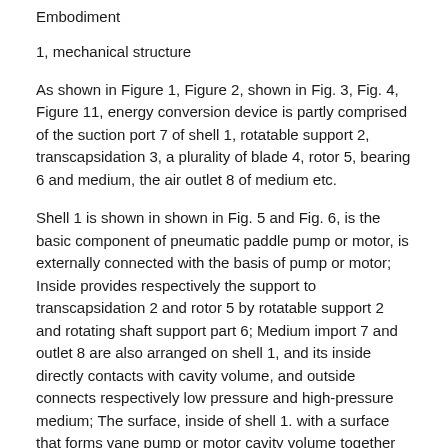Embodiment
1, mechanical structure
As shown in Figure 1, Figure 2, shown in Fig. 3, Fig. 4, Figure 11, energy conversion device is partly comprised of the suction port 7 of shell 1, rotatable support 2, transcapsidation 3, a plurality of blade 4, rotor 5, bearing 6 and medium, the air outlet 8 of medium etc.
Shell 1 is shown in shown in Fig. 5 and Fig. 6, is the basic component of pneumatic paddle pump or motor, is externally connected with the basis of pump or motor; Inside provides respectively the support to transcapsidation 2 and rotor 5 by rotatable support 2 and rotating shaft support part 6; Medium import 7 and outlet 8 are also arranged on shell 1, and its inside directly contacts with cavity volume, and outside connects respectively low pressure and high-pressure medium; The surface, inside of shell 1. with a surface that forms vane pump or motor cavity volume together with the internal surface of transcapsidation; 2. match with transcapsidation two sides of shell 1, because this surface is the surface of high-speed slide, 3. pouring